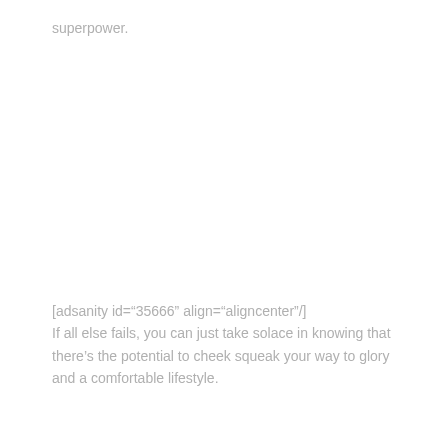superpower.
[adsanity id=“35666” align=“aligncenter”/]
If all else fails, you can just take solace in knowing that there’s the potential to cheek squeak your way to glory and a comfortable lifestyle.